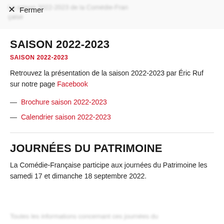× Fermer
SAISON 2022-2023
SAISON 2022-2023
Retrouvez la présentation de la saison 2022-2023 par Éric Ruf sur notre page Facebook
— Brochure saison 2022-2023
— Calendrier saison 2022-2023
JOURNÉES DU PATRIMOINE
La Comédie-Française participe aux journées du Patrimoine les samedi 17 et dimanche 18 septembre 2022.